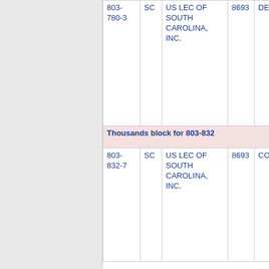| Phone | State | Carrier | Code | City |
| --- | --- | --- | --- | --- |
| 803-780-3 | SC | US LEC OF SOUTH CAROLINA, INC. | 8693 | DENMARK |
| Thousands block for 803-832 |  |  |  |  |
| 803-832-7 | SC | US LEC OF SOUTH CAROLINA, INC. | 8693 | COLUMBIA |